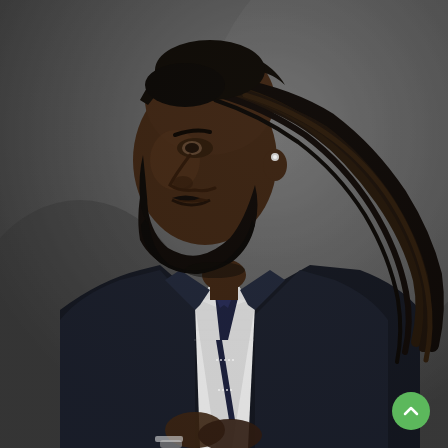[Figure (photo): Professional portrait photograph of a Black man with long dreadlocks and a trimmed beard, wearing a dark navy suit, a white textured dress shirt, and a navy knit tie with white dotted stripe accents. He is posed against a dark gray background, looking to his left, with hands clasped in front of him. He wears a diamond stud earring and a watch on his left wrist. A small green circular scroll-up button appears in the bottom-right corner of the image.]